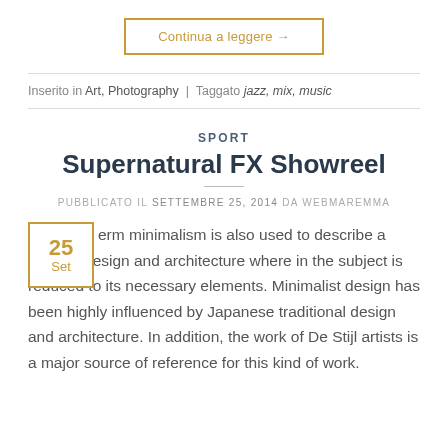Continua a leggere →
Inserito in Art, Photography | Taggato jazz, mix, music
SPORT
Supernatural FX Showreel
PUBBLICATO IL SETTEMBRE 25, 2014 DA WEBMAREMMA
erm minimalism is also used to describe a trend in design and architecture where in the subject is reduced to its necessary elements. Minimalist design has been highly influenced by Japanese traditional design and architecture. In addition, the work of De Stijl artists is a major source of reference for this kind of work.